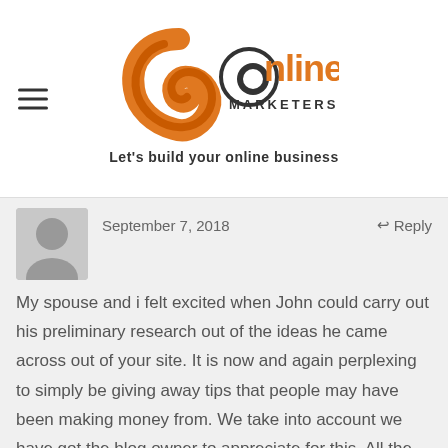[Figure (logo): JR Online Marketers logo with orange swoosh design and tagline 'Let's build your online business']
September 7, 2018
↩ Reply
My spouse and i felt excited when John could carry out his preliminary research out of the ideas he came across out of your site. It is now and again perplexing to simply be giving away tips that people may have been making money from. We take into account we have got the blog owner to appreciate for this. All the illustrations you've made, the easy website navigation, the friendships you will help create – it is mostly incredible, and it's really assisting our son and us imagine that that content is satisfying, and that is exceedingly...